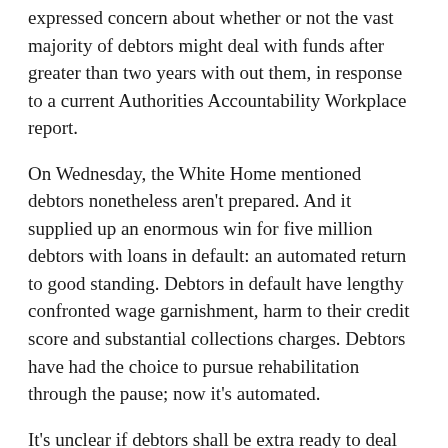expressed concern about whether or not the vast majority of debtors might deal with funds after greater than two years with out them, in response to a current Authorities Accountability Workplace report.
On Wednesday, the White Home mentioned debtors nonetheless aren't prepared. And it supplied up an enormous win for five million debtors with loans in default: an automated return to good standing. Debtors in default have lengthy confronted wage garnishment, harm to their credit score and substantial collections charges. Debtors have had the choice to pursue rehabilitation through the pause; now it's automated.
It's unclear if debtors shall be extra ready to deal with funds come September. On the very least, the extra reprieve offers debtors with extra time to plan.